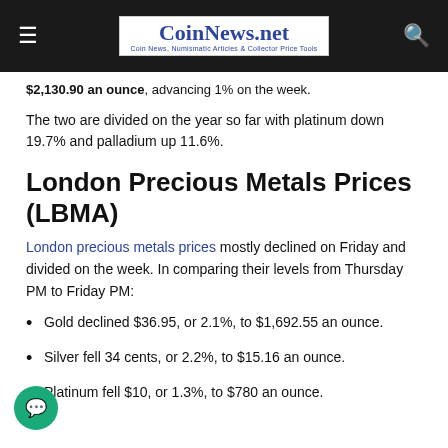CoinNews.net — Coin News, Numismatic Articles & Collector Price Tools
$2,130.90 an ounce, advancing 1% on the week.
The two are divided on the year so far with platinum down 19.7% and palladium up 11.6%.
London Precious Metals Prices (LBMA)
London precious metals prices mostly declined on Friday and divided on the week. In comparing their levels from Thursday PM to Friday PM:
Gold declined $36.95, or 2.1%, to $1,692.55 an ounce.
Silver fell 34 cents, or 2.2%, to $15.16 an ounce.
Platinum fell $10, or 1.3%, to $780 an ounce.